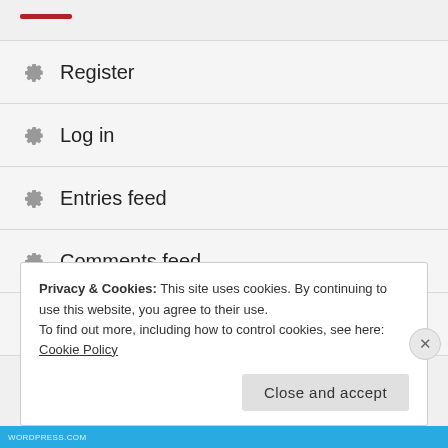Register
Log in
Entries feed
Comments feed
WordPress.com
Privacy & Cookies: This site uses cookies. By continuing to use this website, you agree to their use.
To find out more, including how to control cookies, see here: Cookie Policy